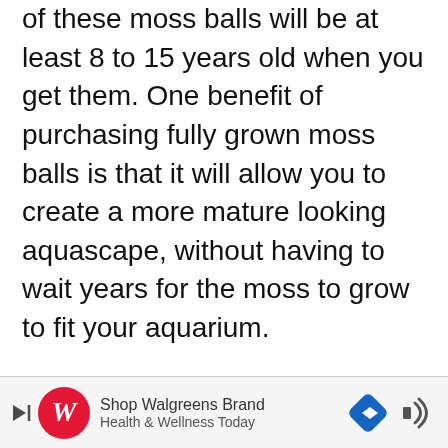Since moss grows very slowly that means each of these moss balls will be at least 8 to 15 years old when you get them. One benefit of purchasing fully grown moss balls is that it will allow you to create a more mature looking aquascape, without having to wait years for the moss to grow to fit your aquarium.
These moss balls are shipped in a rigid container to help ensure they arrive safely at your doorstep. They also come with a care sheet, and a live arrival guarantee, so you can be sure you will get healthy large moss balls tha...
[Figure (other): Advertisement banner for Walgreens Brand Health & Wellness Today with Walgreens logo, navigation arrow icon, and sound icon]